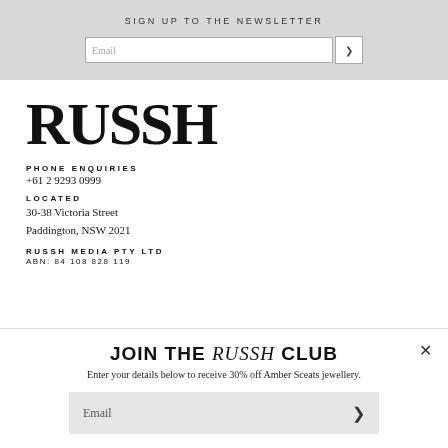SIGN UP TO THE NEWSLETTER
Email [input field]
[Figure (logo): RUSSH magazine logo in large bold serif text]
PHONE ENQUIRIES
+61 2 9293 0999
LOCATED
30-38 Victoria Street
Paddington, NSW 2021
RUSSH MEDIA PTY LTD
ABN: 84 108 828 119
JOIN THE RUSSH CLUB
Enter your details below to receive 30% off Amber Sceats jewellery.
Email [input field]